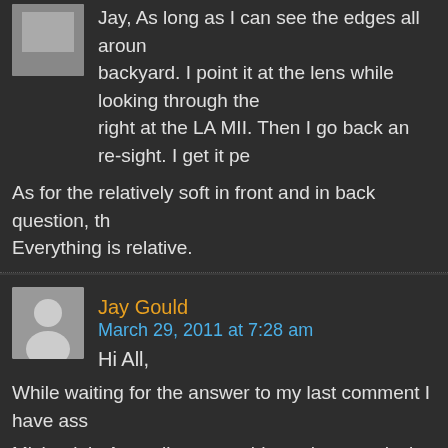Jay, As long as I can see the edges all around backyard. I point it at the lens while looking through the right at the LA MII. Then I go back an re-sight. I get it pe
As for the relatively soft in front and in back question, th Everything is relative.
Jay Gould
March 29, 2011 at 7:28 am
Hi All,
While waiting for the answer to my last comment I have ass
Michael, in Australia we would say that you design and ease
A big thumbs up!!
Jay Gould
March 28, 2011 at 11:41 pm
Hi Michael – and Artie too!
First, Michael, thanks for participating in this discussion. Tho the car, and not much more (!) really appreciate all of the as
There is a similar discussion on RPN http://...